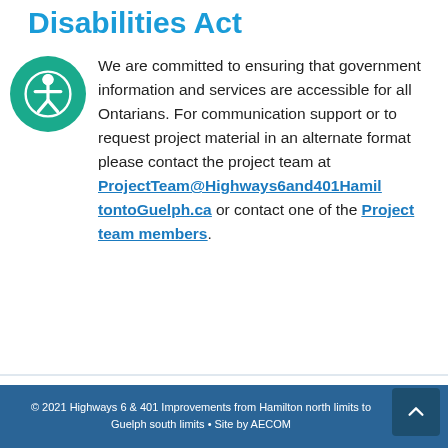Disabilities Act
We are committed to ensuring that government information and services are accessible for all Ontarians. For communication support or to request project material in an alternate format please contact the project team at ProjectTeam@Highways6and401HamiltontoGuelph.ca or contact one of the Project team members.
© 2021 Highways 6 & 401 Improvements from Hamilton north limits to Guelph south limits • Site by AECOM